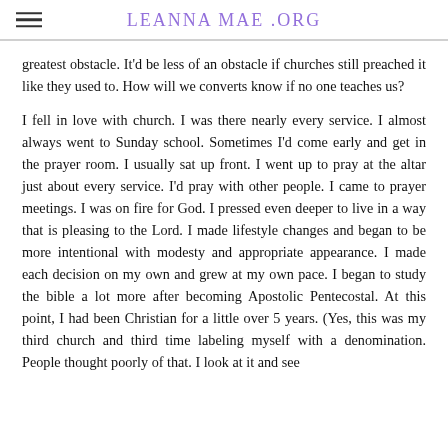LEANNA MAE .ORG
greatest obstacle. It'd be less of an obstacle if churches still preached it like they used to. How will we converts know if no one teaches us?
I fell in love with church. I was there nearly every service. I almost always went to Sunday school. Sometimes I'd come early and get in the prayer room. I usually sat up front. I went up to pray at the altar just about every service. I'd pray with other people. I came to prayer meetings. I was on fire for God. I pressed even deeper to live in a way that is pleasing to the Lord. I made lifestyle changes and began to be more intentional with modesty and appropriate appearance. I made each decision on my own and grew at my own pace. I began to study the bible a lot more after becoming Apostolic Pentecostal. At this point, I had been Christian for a little over 5 years. (Yes, this was my third church and third time labeling myself with a denomination. People thought poorly of that. I look at it and see